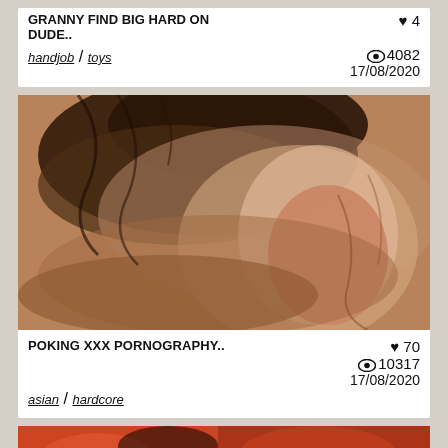GRANNY FIND BIG HARD ON DUDE..
♥ 4
👁 4082
17/08/2020
handjob / toys
[Figure (photo): Close-up photo used as video thumbnail]
POKING XXX PORNOGRAPHY..
♥ 70
👁 10317
17/08/2020
asian / hardcore
[Figure (photo): Partial thumbnail of video at bottom]